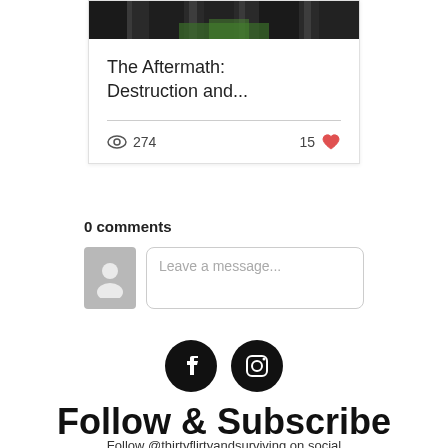[Figure (photo): Blog post card with dark forest/burned trees photo at top, showing post title 'The Aftermath: Destruction and...' with 274 views and 15 likes]
The Aftermath: Destruction and...
274 views · 15 likes
0 comments
Leave a message...
[Figure (logo): Facebook and Instagram social media icons (black circles with white logos)]
Follow & Subscribe
Follow @thirtyflirtyandsurviving on social